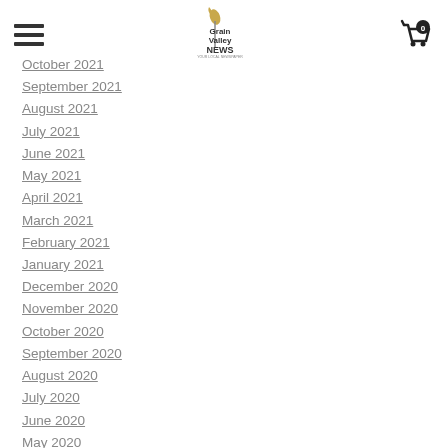Grain Valley NEWS
October 2021
September 2021
August 2021
July 2021
June 2021
May 2021
April 2021
March 2021
February 2021
January 2021
December 2020
November 2020
October 2020
September 2020
August 2020
July 2020
June 2020
May 2020
April 2020